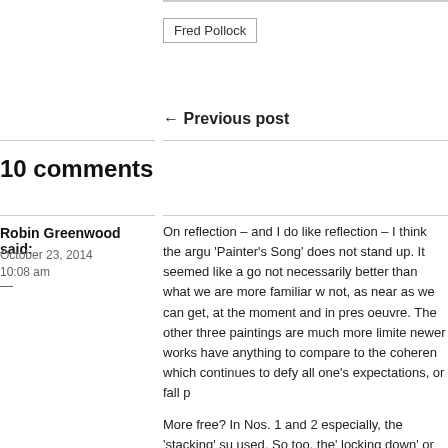Fred Pollock
← Previous post
10 comments
Robin Greenwood said:
October 23, 2014
10:08 am
On reflection – and I do like reflection – I think the argu 'Painter's Song' does not stand up. It seemed like a go not necessarily better than what we are more familiar w not, as near as we can get, at the moment and in pres oeuvre. The other three paintings are much more limite newer works have anything to compare to the coheren which continues to defy all one's expectations, or fall p
More free? In Nos. 1 and 2 especially, the 'stacking' su used. So too, the' locking down' or framing mechanism
Emyr's points about tonal painting and the reversion to is no box. Nor, for the record, is much from the history